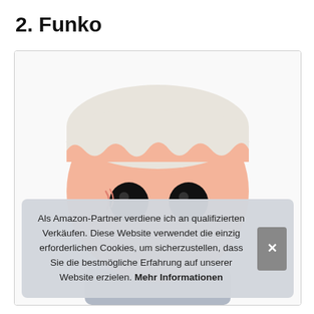2. Funko
[Figure (photo): Close-up photo of a Funko Pop vinyl figure with white hair and large black eyes on a peach/pink round head, cropped to show the upper head portion only]
Als Amazon-Partner verdiene ich an qualifizierten Verkäufen. Diese Website verwendet die einzig erforderlichen Cookies, um sicherzustellen, dass Sie die bestmögliche Erfahrung auf unserer Website erzielen. Mehr Informationen